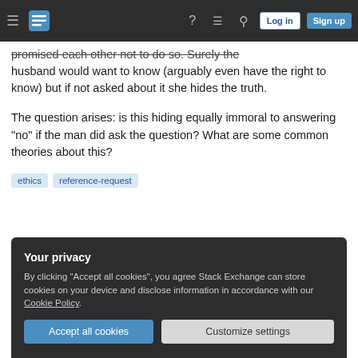Philosophy Stack Exchange - navigation bar with Log in and Sign up buttons
promised each other not to do so. Surely the husband would want to know (arguably even have the right to know) but if not asked about it she hides the truth.
The question arises: is this hiding equally immoral to answering "no" if the man did ask the question? What are some common theories about this?
ethics
reference-request
Your privacy
By clicking "Accept all cookies", you agree Stack Exchange can store cookies on your device and disclose information in accordance with our Cookie Policy.